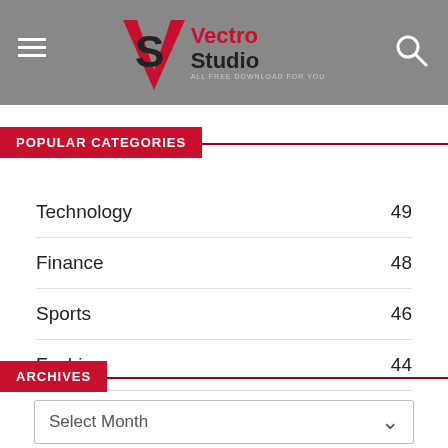VectroStudio — ALL FREE DOWNLOAD FOR YOU
POPULAR CATEGORIES
Technology 49
Finance 48
Sports 46
Fashion 44
Auto And Moto 36
Government 32
ARCHIVES
Select Month